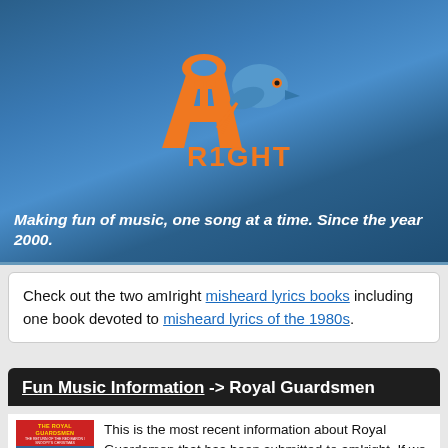[Figure (logo): amIright logo - orange letter A with musical note styling, blue bird/quill figure, orange text reading R1GHT below]
Making fun of music, one song at a time. Since the year 2000.
Check out the two amIright misheard lyrics books including one book devoted to misheard lyrics of the 1980s.
Fun Music Information -> Royal Guardsmen
[Figure (photo): The Royal Guardsmen album cover with red background and yellow text]
This is the most recent information about Royal Guardsmen that has been submitted to amIright. If we have